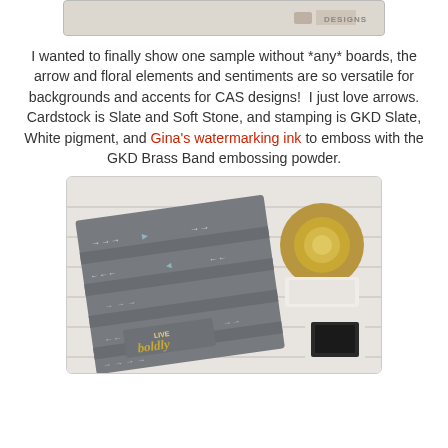[Figure (photo): Partial top image showing a photo with 'DESIGNS' text visible at right edge, cropped at top of page]
I wanted to finally show one sample without *any* boards, the arrow and floral elements and sentiments are so versatile for backgrounds and accents for CAS designs!  I just love arrows. Cardstock is Slate and Soft Stone, and stamping is GKD Slate, White pigment, and Gina's watermarking ink to emboss with the GKD Brass Band embossing powder.
[Figure (photo): Photo of a grey card with arrow stamp pattern and 'LIVE boldly' text embossed in gold, alongside a gold/brass washi tape roll and ink pad on a white wood background]